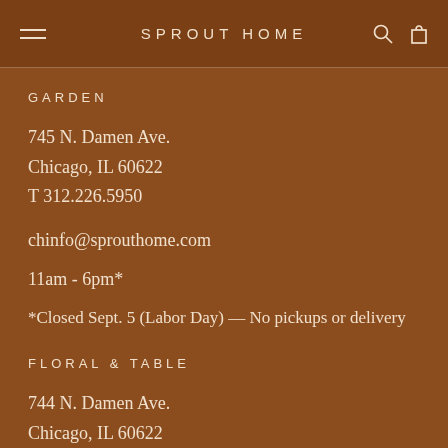SPROUT HOME
GARDEN
745 N. Damen Ave.
Chicago, IL 60622
T 312.226.5950
chinfo@sprouthome.com
11am - 6pm*
*Closed Sept. 5 (Labor Day) — No pickups or delivery
FLORAL & TABLE
744 N. Damen Ave.
Chicago, IL 60622